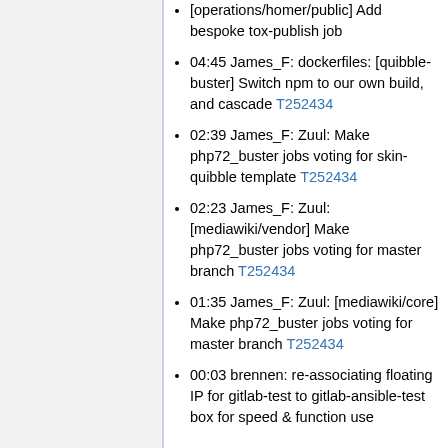[operations/homer/public] Add bespoke tox-publish job
04:45 James_F: dockerfiles: [quibble-buster] Switch npm to our own build, and cascade T252434
02:39 James_F: Zuul: Make php72_buster jobs voting for skin-quibble template T252434
02:23 James_F: Zuul: [mediawiki/vendor] Make php72_buster jobs voting for master branch T252434
01:35 James_F: Zuul: [mediawiki/core] Make php72_buster jobs voting for master branch T252434
00:03 brennen: re-associating floating IP for gitlab-test to gitlab-ansible-test box for speed & function use